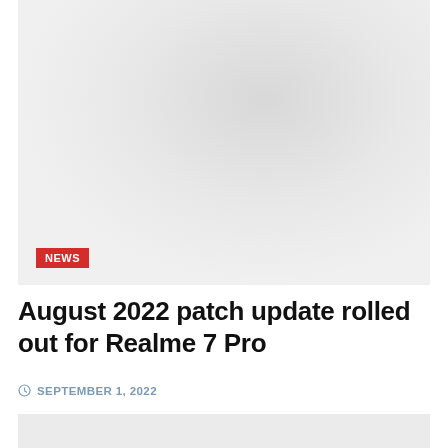[Figure (photo): Hero image placeholder with light gray background, possibly showing a phone or device silhouette]
NEWS
August 2022 patch update rolled out for Realme 7 Pro
SEPTEMBER 1, 2022
[Figure (photo): Partial image at the bottom of the page, light gray background]